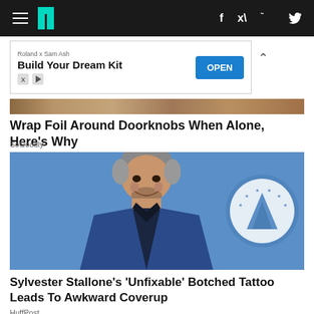HuffPost navigation header with hamburger menu, logo, Facebook and Twitter icons
[Figure (infographic): Advertisement banner: Roland x Sam Ash - Build Your Dream Kit - OPEN button]
[Figure (photo): Partial cropped image strip showing a background scene]
Wrap Foil Around Doorknobs When Alone, Here's Why
SoGoodly
[Figure (photo): Photo of Sylvester Stallone smiling at a Paramount event, wearing a blue suit, with the Paramount logo visible in the background]
Sylvester Stallone's 'Unfixable' Botched Tattoo Leads To Awkward Coverup
HuffPost